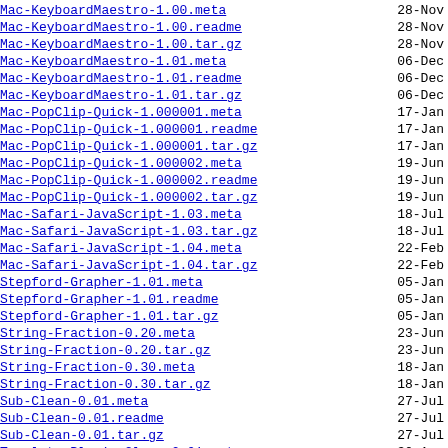Mac-KeyboardMaestro-1.00.meta   28-Nov
Mac-KeyboardMaestro-1.00.readme   28-Nov
Mac-KeyboardMaestro-1.00.tar.gz   28-Nov
Mac-KeyboardMaestro-1.01.meta   06-Dec
Mac-KeyboardMaestro-1.01.readme   06-Dec
Mac-KeyboardMaestro-1.01.tar.gz   06-Dec
Mac-PopClip-Quick-1.000001.meta   17-Jan
Mac-PopClip-Quick-1.000001.readme   17-Jan
Mac-PopClip-Quick-1.000001.tar.gz   17-Jan
Mac-PopClip-Quick-1.000002.meta   19-Jun
Mac-PopClip-Quick-1.000002.readme   19-Jun
Mac-PopClip-Quick-1.000002.tar.gz   19-Jun
Mac-Safari-JavaScript-1.03.meta   18-Jul
Mac-Safari-JavaScript-1.03.tar.gz   18-Jul
Mac-Safari-JavaScript-1.04.meta   22-Feb
Mac-Safari-JavaScript-1.04.tar.gz   22-Feb
Stepford-Grapher-1.01.meta   05-Jan
Stepford-Grapher-1.01.readme   05-Jan
Stepford-Grapher-1.01.tar.gz   05-Jan
String-Fraction-0.20.meta   23-Jun
String-Fraction-0.20.tar.gz   23-Jun
String-Fraction-0.30.meta   18-Jan
String-Fraction-0.30.tar.gz   18-Jan
Sub-Clean-0.01.meta   27-Jul
Sub-Clean-0.01.readme   27-Jul
Sub-Clean-0.01.tar.gz   27-Jul
Template-Plugin-Clone-0.01.meta   30-Aug
Template-Plugin-Clone-0.01.tar.gz   30-Aug
Template-Plugin-ListUtil-0.02.meta   03-Sep
Template-Plugin-ListUtil-0.02.tar.gz   03-Sep